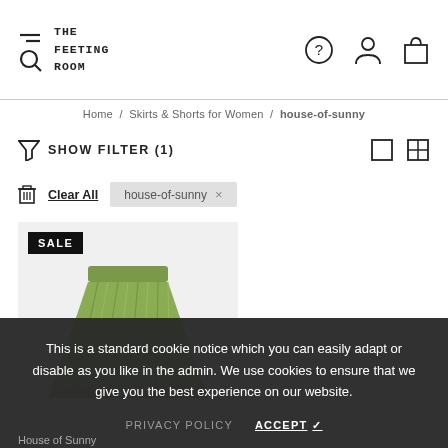THE FEETING ROOM
Home / Skirts & Shorts for Women / house-of-sunny
SHOW FILTER (1)
Clear All  house-of-sunny ×
[Figure (photo): A green pleated mini skirt product photo on a light grey background with a black SALE badge in the top left corner]
This is a standard cookie notice which you can easily adapt or disable as you like in the admin. We use cookies to ensure that we give you the best experience on our website.
PRIVACY POLICY   ACCEPT ✓
House of Sunny